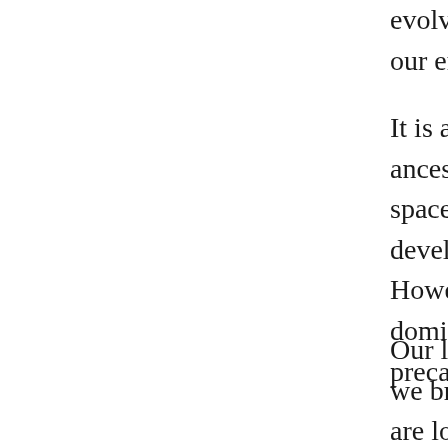evolving; society is evolving; and that w our environment. That which does not s
It is assumed that not only have we evo ancestor, but that we are evolving as a space program, laser, television, penicil developments which would seem to ma However, we can easily see that this is domination by science, it could be said precariously poised on the brink of such
Our lives, as individuals and groups and we breathe and the water we drink is po are loaded with substances which contr fact, be injurious to our health. Stress a life and can be shown to have killed mil exponentially. Crime increases nine tim endless quantities of pills to wake up, g and make us feel good. The inhabitants recreational drugs than they spend on h